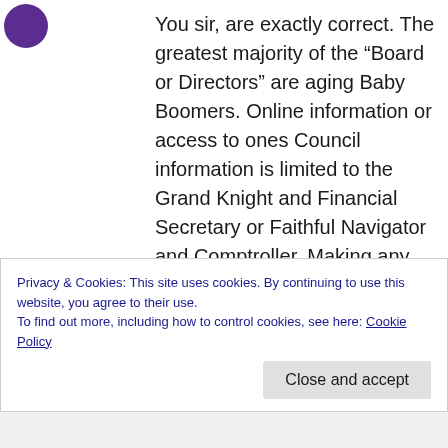[Figure (logo): Purple circular logo in upper left corner]
You sir, are exactly correct. The greatest majority of the “Board or Directors” are aging Baby Boomers. Online information or access to ones Council information is limited to the Grand Knight and Financial Secretary or Faithful Navigator and Comptroller. Making any changes at all hinges on the Financial person. It is way archaic in the age of online billpay. Yet, isn’t funny how my insurance can be auto withdrawn. Even then, that system needs a change- not the
Privacy & Cookies: This site uses cookies. By continuing to use this website, you agree to their use.
To find out more, including how to control cookies, see here: Cookie Policy